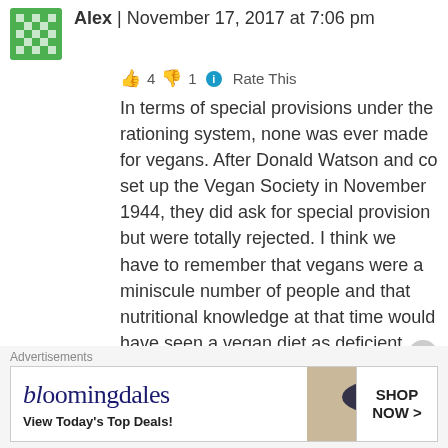Alex | November 17, 2017 at 7:06 pm
👍 4 👎 1 ℹ Rate This
In terms of special provisions under the rationing system, none was ever made for vegans. After Donald Watson and co set up the Vegan Society in November 1944, they did ask for special provision but were totally rejected. I think we have to remember that vegans were a miniscule number of people and that nutritional knowledge at that time would have seen a vegan diet as deficient, e.g. pulses were seen as inferior sources of protein. Vegans today benefit from supplements and fortified foods, which ensure Vitamin B12 and help to provide adequate calcium, iodine and long-chain omega 3 (especially DHA). They also benefit from a food system that provides an enormous variety of food all year round – hardly similar to wartime
Advertisements
[Figure (other): Bloomingdale's advertisement banner with text 'bloomingdales', 'View Today's Top Deals!' and 'SHOP NOW >']